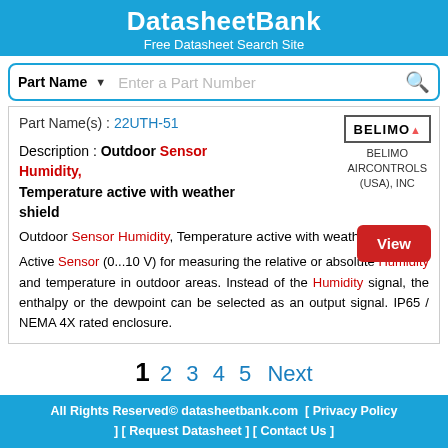DatasheetBank
Free Datasheet Search Site
[Figure (screenshot): Search bar with Part Name dropdown and search icon]
Part Name(s) : 22UTH-51
[Figure (logo): BELIMO logo with flame icon, BELIMO AIRCONTROLS (USA), INC]
Description : Outdoor Sensor Humidity, Temperature active with weather shield
Outdoor Sensor Humidity, Temperature active with weather shield
Active Sensor (0...10 V) for measuring the relative or absolute Humidity and temperature in outdoor areas. Instead of the Humidity signal, the enthalpy or the dewpoint can be selected as an output signal. IP65 / NEMA 4X rated enclosure.
1 2 3 4 5 Next
All Rights Reserved© datasheetbank.com  [ Privacy Policy ] [ Request Datasheet ] [ Contact Us ]